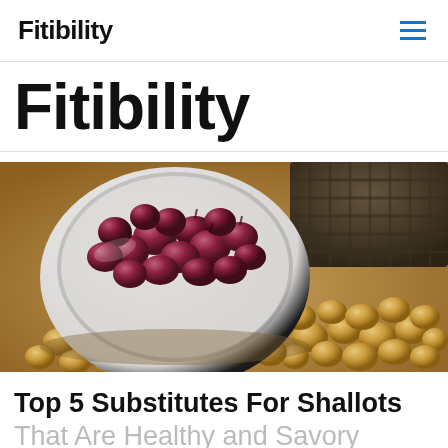Fitibility
Fitibility
[Figure (photo): A white enamel bowl filled with small red/purple shallots, placed next to a pile of golden-yellow pearl onions, with a dark wicker basket in the background.]
Top 5 Substitutes For Shallots That Are Healthy and Savory